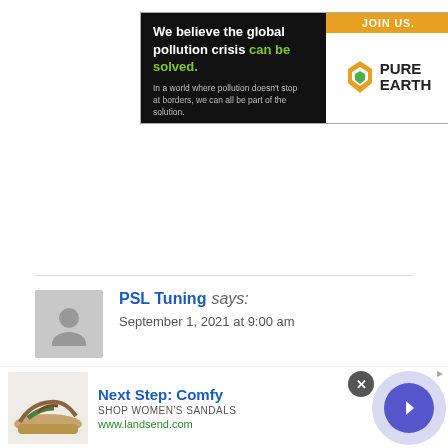[Figure (illustration): Pure Earth advertisement banner. Black left panel with text: 'We believe the global pollution crisis can be solved.' and subtext 'In a world where pollution doesn't stop at borders, we can all be part of the solution.' Right white panel with orange 'JOIN US.' bar and Pure Earth logo with diamond/leaf icon.]
PSL Tuning says:
September 1, 2021 at 9:00 am
PSL Tuning specialize in chip tuning, engine
[Figure (illustration): Bottom advertisement banner: Sandal shoe image on left, text 'Next Step: Comfy', 'SHOP WOMEN'S SANDALS', 'www.landsend.com', close button (X), and blue circular arrow button on right.]